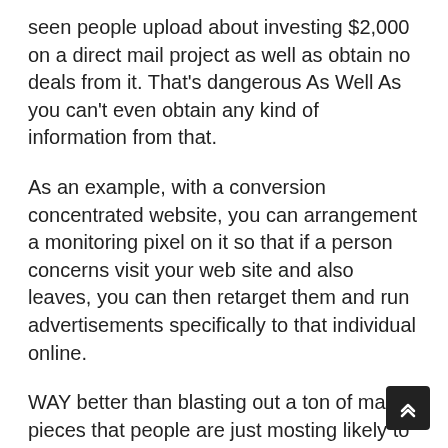seen people upload about investing $2,000 on a direct mail project as well as obtain no deals from it. That's dangerous As Well As you can't even obtain any kind of information from that.
As an example, with a conversion concentrated website, you can arrangement a monitoring pixel on it so that if a person concerns visit your web site and also leaves, you can then retarget them and run advertisements specifically to that individual online.
WAY better than blasting out a ton of mail pieces that people are just mosting likely to throw away anyways. You can collect they extremely beneficial information due to the fact that believe about it.
Individuals taking a look at your web site are obviously individuals thinking about using your solutions, so why not target just those people !? It's